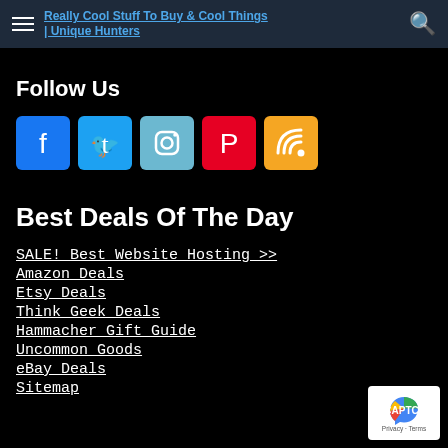Really Cool Stuff To Buy & Cool Things | Unique Hunters
Follow Us
[Figure (infographic): Social media icons: Facebook, Twitter, Instagram, Pinterest, RSS feed]
Best Deals Of The Day
SALE! Best Website Hosting >>
Amazon Deals
Etsy Deals
Think Geek Deals
Hammacher Gift Guide
Uncommon Goods
eBay Deals
Sitemap